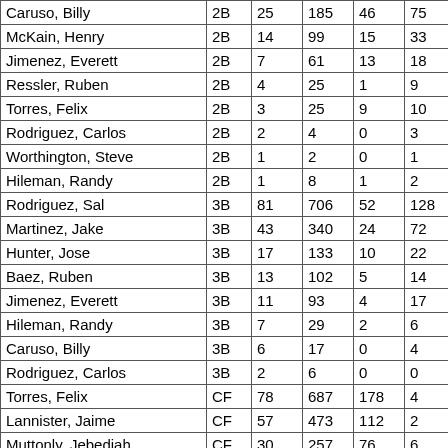| Caruso, Billy | 2B | 25 | 185 | 46 | 75 | 1 |
| McKain, Henry | 2B | 14 | 99 | 15 | 33 | 2 |
| Jimenez, Everett | 2B | 7 | 61 | 13 | 18 | 0 |
| Ressler, Ruben | 2B | 4 | 25 | 1 | 9 | 0 |
| Torres, Felix | 2B | 3 | 25 | 9 | 10 | 0 |
| Rodriguez, Carlos | 2B | 2 | 4 | 0 | 3 | 0 |
| Worthington, Steve | 2B | 1 | 2 | 0 | 1 | 0 |
| Hileman, Randy | 2B | 1 | 8 | 1 | 2 | 0 |
| Rodriguez, Sal | 3B | 81 | 706 | 52 | 128 | 12 |
| Martinez, Jake | 3B | 43 | 340 | 24 | 72 | 6 |
| Hunter, Jose | 3B | 17 | 133 | 10 | 22 | 2 |
| Baez, Ruben | 3B | 13 | 102 | 5 | 14 | 3 |
| Jimenez, Everett | 3B | 11 | 93 | 4 | 17 | 0 |
| Hileman, Randy | 3B | 7 | 29 | 2 | 6 | 0 |
| Caruso, Billy | 3B | 6 | 17 | 0 | 4 | 0 |
| Rodriguez, Carlos | 3B | 2 | 6 | 0 | 0 | 0 |
| Torres, Felix | CF | 78 | 687 | 178 | 4 | 3 |
| Lannister, Jaime | CF | 57 | 473 | 112 | 2 | 0 |
| Muttonly, Jebediah | CF | 30 | 257 | 76 | 6 | 0 |